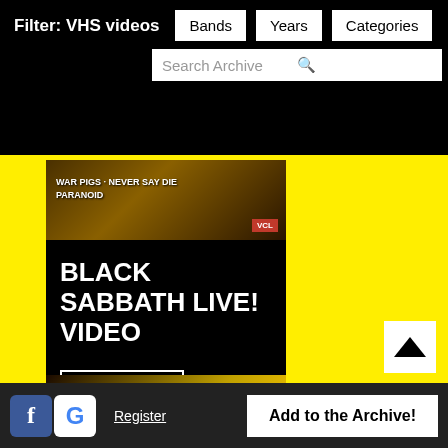Filter: VHS videos | Bands | Years | Categories | Search Archive
[Figure (screenshot): VHS video thumbnail showing Black Sabbath tape with text: WAR PIGS · NEVER SAY DIE PARANOID, VCL badge]
BLACK SABBATH LIVE! VIDEO
read more
[Figure (screenshot): Partial card showing Black Sabbath logo and text ACK NEVER SAY DIE]
Facebook icon | Google icon | Register | Add to the Archive!